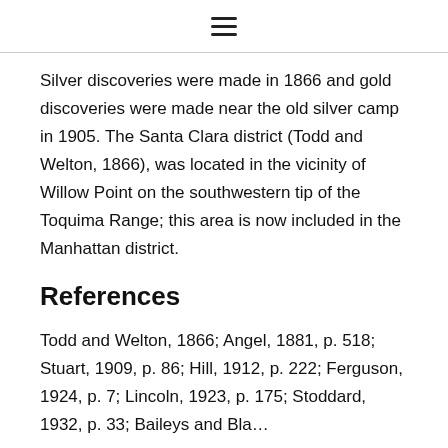≡
Silver discoveries were made in 1866 and gold discoveries were made near the old silver camp in 1905. The Santa Clara district (Todd and Welton, 1866), was located in the vicinity of Willow Point on the southwestern tip of the Toquima Range; this area is now included in the Manhattan district.
References
Todd and Welton, 1866; Angel, 1881, p. 518; Stuart, 1909, p. 86; Hill, 1912, p. 222; Ferguson, 1924, p. 7; Lincoln, 1923, p. 175; Stoddard, 1932, p. 33; Baileys and Blacking…